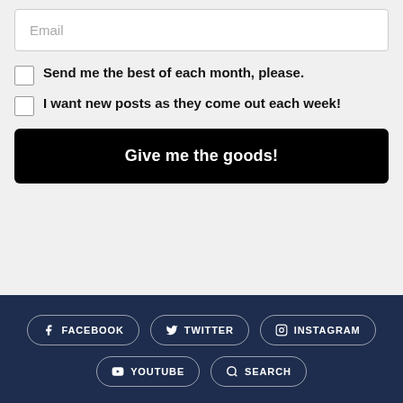Email
Send me the best of each month, please.
I want new posts as they come out each week!
Give me the goods!
FACEBOOK   TWITTER   INSTAGRAM   YOUTUBE   SEARCH